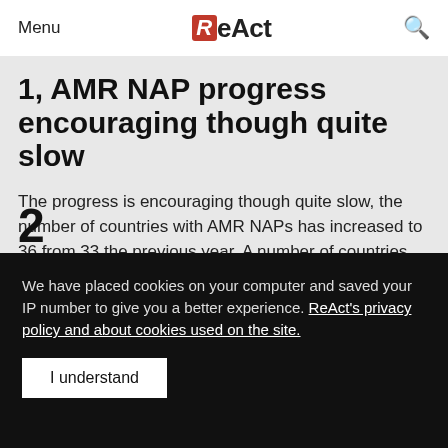Menu | ReAct | Search
1, AMR NAP progress encouraging though quite slow
The progress is encouraging though quite slow, the number of countries with AMR NAPs has increased to 36 from 33 the previous year. A number of countries are conducting some activities in all the 5 strategic areas of the Global Action Plan on AMR such as awareness and knowledge, antimicrobial surveillance, and supply.
We have placed cookies on your computer and saved your IP number to give you a better experience. ReAct's privacy policy and about cookies used on the site.
I understand